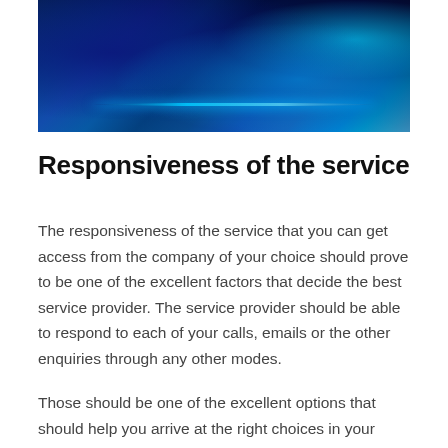[Figure (photo): Interior of a luxury limousine with blue LED lighting illuminating leather seats and a curved bar area]
Responsiveness of the service
The responsiveness of the service that you can get access from the company of your choice should prove to be one of the excellent factors that decide the best service provider. The service provider should be able to respond to each of your calls, emails or the other enquiries through any other modes.
Those should be one of the excellent options that should help you arrive at the right choices in your airport limo